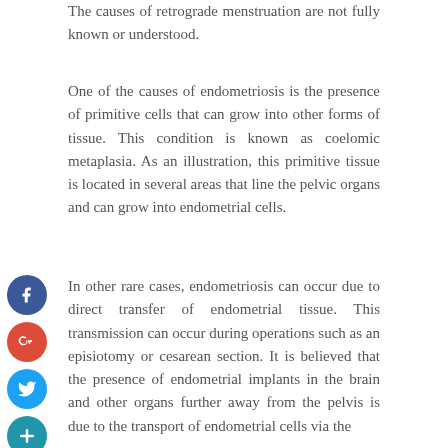The causes of retrograde menstruation are not fully known or understood.
One of the causes of endometriosis is the presence of primitive cells that can grow into other forms of tissue. This condition is known as coelomic metaplasia. As an illustration, this primitive tissue is located in several areas that line the pelvic organs and can grow into endometrial cells.
[Figure (other): Social media sharing icons stacked vertically on the left side: Facebook (blue circle with f), Google+ (red circle with g+), Twitter (blue circle with bird), and a teal plus/add circle]
In other rare cases, endometriosis can occur due to direct transfer of endometrial tissue. This transmission can occur during operations such as an episiotomy or cesarean section. It is believed that the presence of endometrial implants in the brain and other organs further away from the pelvis is due to the transport of endometrial cells via the